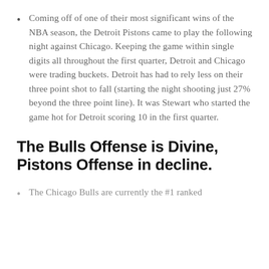Coming off of one of their most significant wins of the NBA season, the Detroit Pistons came to play the following night against Chicago. Keeping the game within single digits all throughout the first quarter, Detroit and Chicago were trading buckets. Detroit has had to rely less on their three point shot to fall (starting the night shooting just 27% beyond the three point line). It was Stewart who started the game hot for Detroit scoring 10 in the first quarter.
The Bulls Offense is Divine, Pistons Offense in decline.
The Chicago Bulls are currently the #1 ranked